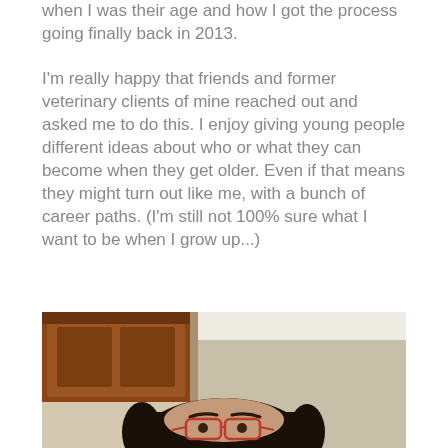when I was their age and how I got the process going finally back in 2013.
I'm really happy that friends and former veterinary clients of mine reached out and asked me to do this. I enjoy giving young people different ideas about who or what they can become when they get older. Even if that means they might turn out like me, with a bunch of career paths. (I'm still not 100% sure what I want to be when I grow up...)
[Figure (photo): Photo of a person with dark hair and red glasses, taken indoors with wooden cabinetry and a beige wall visible in the background. The top of the person's head and face with glasses are visible.]